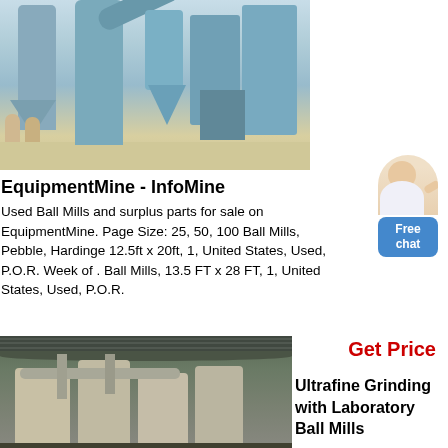[Figure (photo): Industrial ball mill grinding equipment in a factory, light blue colored machinery with hoppers, pipes, and cyclone separators on a concrete floor]
[Figure (photo): Chat widget showing a customer service representative figure and a blue Free chat button]
EquipmentMine - InfoMine
Used Ball Mills and surplus parts for sale on EquipmentMine. Page Size: 25, 50, 100 Ball Mills, Pebble, Hardinge 12.5ft x 20ft, 1, United States, Used, P.O.R. Week of . Ball Mills, 13.5 FT x 28 FT, 1, United States, Used, P.O.R.
Get Price
[Figure (photo): Industrial grinding equipment inside a large warehouse building with arched metal roof, showing white cylindrical machines and piping]
Ultrafine Grinding with Laboratory Ball Mills